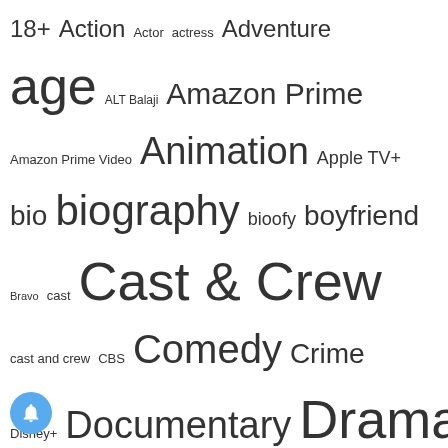[Figure (infographic): Tag cloud / word cloud showing various entertainment, biography, and streaming-related tags in varying font sizes indicating frequency/importance. Tags include: 18+, Action, Actor, actress, Adventure, age, ALT Balaji, Amazon Prime, Amazon Prime Video, Animation, Apple TV+, bio, biography, bioofy, boyfriend, Bravo, cast, Cast & Crew, cast and crew, CBS, Comedy, Crime, Disney+, Documentary, Drama, Education, family, Fantasy, figure, Fliz movies, Fox, Game-Show, Game Show, girlfriend, Hallmark, HBO, HBO Max, height, Hindi Web Series, History, Hoichoi, Horror, HotShots, Hulu, income, indian actress, Indian Web Series, Instagrammer, Instagram Star, Kooku, Lifetime, love, model, movie, Movie Story, music, Musical, MX Player, MyStery]